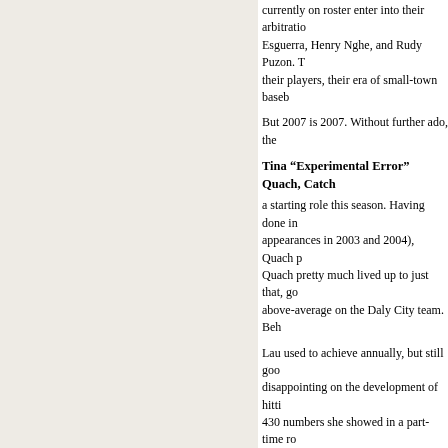currently on roster enter into their arbitration. Esguerra, Henry Nghe, and Rudy Puzon. T their players, their era of small-town base
But 2007 is 2007. Without further ado, the
Tina “Experimental Error” Quach, Catch
a starting role this season. Having done in appearances in 2003 and 2004), Quach p Quach pretty much lived up to just that, go above-average on the Daly City team. Beh
Lau used to achieve annually, but still goo disappointing on the development of hittin 430 numbers she showed in a part-time ro
| G | AB | H | 2B | 3B | HR | RBI | R | K | BB |
| --- | --- | --- | --- | --- | --- | --- | --- | --- | --- |
| 149 | 553 | 158 | 27 | 2 | 7 | 66 | 84 | 41 | 67 |
Marco Paz, Backup Catcher:
Paz secure as a backup catcher after Lau’s retirement the ball rolling, hitting .139-.160-.228 in 10 player with as many plate appearances as and throwing out 4 of 7 would-be baserun
| G | AB | H | 2B | 3B | HR | RBI | R | K | BB | HE |
| --- | --- | --- | --- | --- | --- | --- | --- | --- | --- | --- |
| 28 | 101 | 14 | 3 | 0 | 2 | 17 | 9 | 20 | 3 | 0 |
Derek Low, First Baseman: Talk about